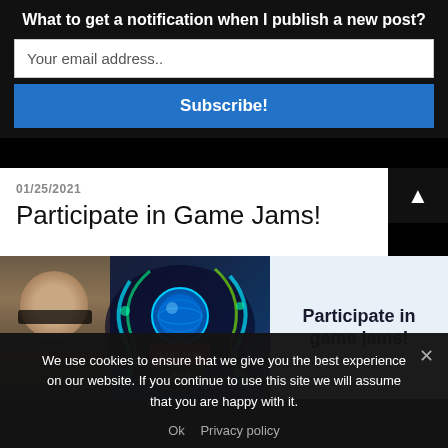What to get a notification when I publish a new post?
Your email address..
Subscribe!
01/25/2021
Participate in Game Jams!
[Figure (photo): Thumbnail image showing a person with glasses next to the Ludum Dare 2020 game jam logo with text 'Participate in game jams!']
We use cookies to ensure that we give you the best experience on our website. If you continue to use this site we will assume that you are happy with it.
Ok   Privacy policy